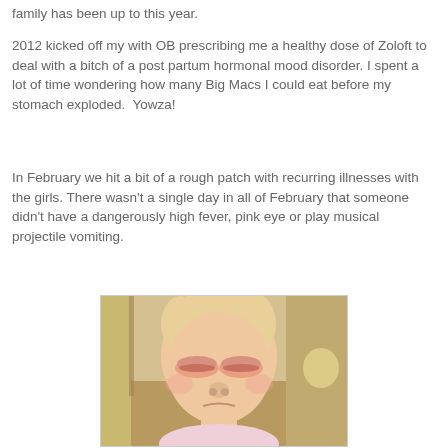family has been up to this year.
2012 kicked off my with OB prescribing me a healthy dose of Zoloft to deal with a bitch of a post partum hormonal mood disorder. I spent a lot of time wondering how many Big Macs I could eat before my stomach exploded.  Yowza!
In February we hit a bit of a rough patch with recurring illnesses with the girls. There wasn't a single day in all of February that someone didn't have a dangerously high fever, pink eye or play musical projectile vomiting.
[Figure (photo): Close-up photo of a young toddler/baby girl with swollen, puffy eyes suggesting pink eye infection, wearing a light pink top, with blonde hair, looking downward with a sad expression.]